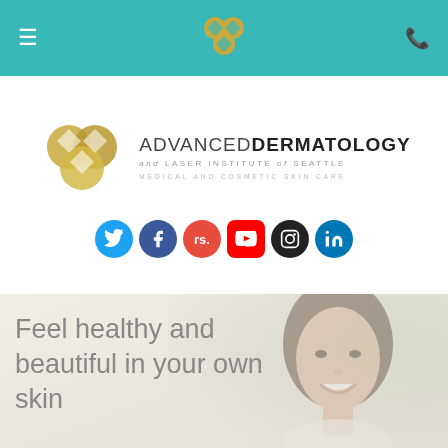Navigation bar with hamburger menu, centered logo icon, and phone icon
[Figure (logo): Advanced Dermatology and Laser Institute of Seattle logo with golden heart/flower emblem and social media icons (Twitter, Facebook, RealSelf, YouTube, Instagram, LinkedIn)]
Feel healthy and beautiful in your own skin